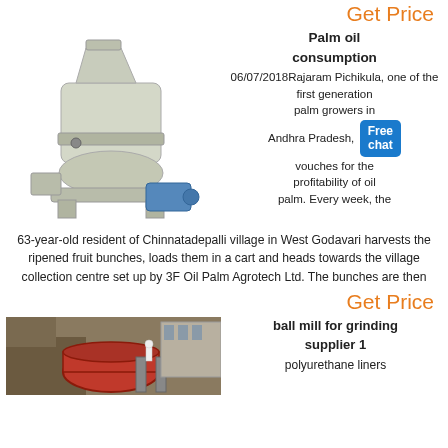Get Price
[Figure (photo): Industrial cone/gyratory crusher machine, white/gray colored, with motor attached at base]
Palm oil consumption
06/07/2018Rajaram Pichikula, one of the first generation palm growers in Andhra Pradesh, vouches for the profitability of oil palm. Every week, the
63-year-old resident of Chinnatadepalli village in West Godavari harvests the ripened fruit bunches, loads them in a cart and heads towards the village collection centre set up by 3F Oil Palm Agrotech Ltd. The bunches are then
Get Price
[Figure (photo): Ball mill for grinding - large circular industrial grinding equipment outdoors]
ball mill for grinding supplier 1
polyurethane liners